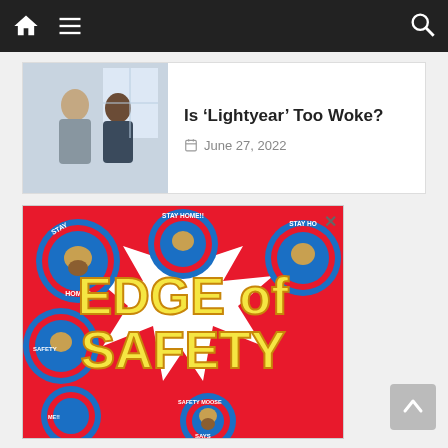Navigation bar with home icon, menu icon, and search icon
Is ‘Lightyear’ Too Woke?
June 27, 2022
[Figure (photo): Thumbnail image of two children from the movie Lightyear looking at each other]
[Figure (illustration): Advertisement for Edge of Safety featuring Safety Moose Says cartoon character with red circular badges saying STAY HOME!! and SAFETY MOOSE SAYS on a red Canadian maple leaf background with large yellow text reading EDGE OF SAFETY]